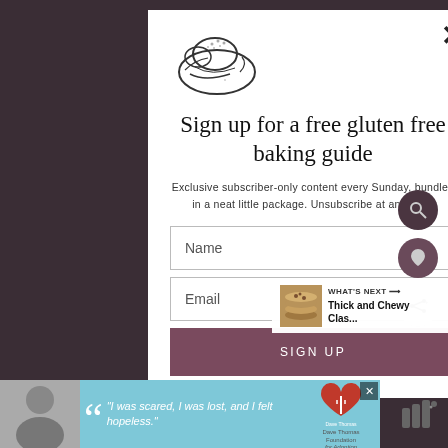[Figure (illustration): Croissant line drawing illustration in the top-left of the modal popup]
Sign up for a free gluten free baking guide
Exclusive subscriber-only content every Sunday, bundled in a neat little package. Unsubscribe at any time.
Name
Email
SIGN UP
WHAT'S NEXT → Thick and Chewy Clas...
"I was scared, I was lost, and I felt hopeless."
[Figure (logo): Dave Thomas Foundation for Adoption logo]